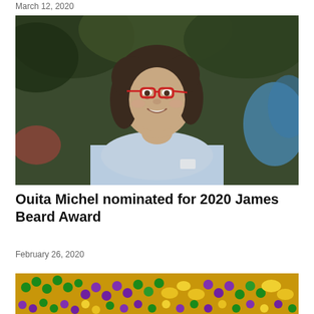March 12, 2020
[Figure (photo): Woman with short dark hair and red glasses smiling outdoors with green foliage and blue background blur, wearing a light blue collared shirt]
Ouita Michel nominated for 2020 James Beard Award
February 26, 2020
[Figure (photo): Close-up of colorful Mardi Gras beads in purple, green, and gold colors with festive decorations]